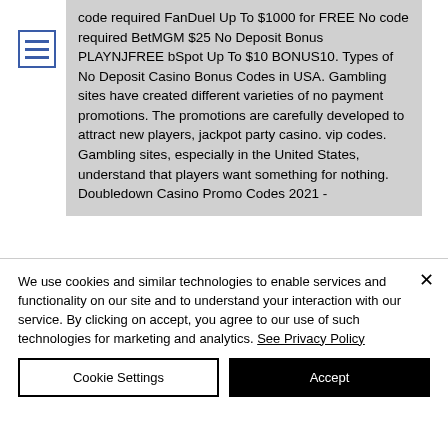[Figure (other): Hamburger menu icon — three horizontal blue lines inside a blue rectangle border]
code required FanDuel Up To $1000 for FREE No code required BetMGM $25 No Deposit Bonus PLAYNJFREE bSpot Up To $10 BONUS10. Types of No Deposit Casino Bonus Codes in USA. Gambling sites have created different varieties of no payment promotions. The promotions are carefully developed to attract new players, jackpot party casino. vip codes. Gambling sites, especially in the United States, understand that players want something for nothing. Doubledown Casino Promo Codes 2021 -
We use cookies and similar technologies to enable services and functionality on our site and to understand your interaction with our service. By clicking on accept, you agree to our use of such technologies for marketing and analytics. See Privacy Policy